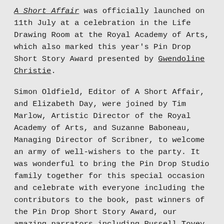A Short Affair was officially launched on 11th July at a celebration in the Life Drawing Room at the Royal Academy of Arts, which also marked this year's Pin Drop Short Story Award presented by Gwendoline Christie.
Simon Oldfield, Editor of A Short Affair, and Elizabeth Day, were joined by Tim Marlow, Artistic Director of the Royal Academy of Arts, and Suzanne Baboneau, Managing Director of Scribner, to welcome an army of well-wishers to the party. It was wonderful to bring the Pin Drop Studio family together for this special occasion and celebrate with everyone including the contributors to the book, past winners of the Pin Drop Short Story Award, our amazing narrators including Russell Tovey and Gwendoline Christie, our members and supporters, and of course, the brilliant Pin Drop team.  Thank you to our sponsors at Stonehage Fleming for making it possible,  Jason Atherton for the